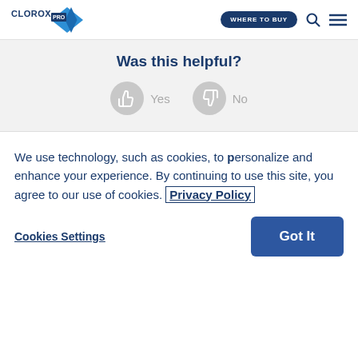CloroxPro | WHERE TO BUY
Was this helpful?
Yes
No
We use technology, such as cookies, to personalize and enhance your experience. By continuing to use this site, you agree to our use of cookies. Privacy Policy
Cookies Settings
Got It